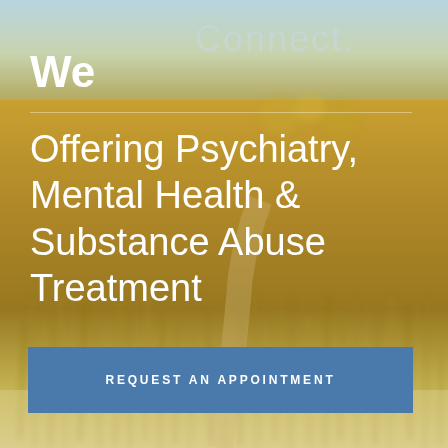[Figure (photo): Blurred outdoor meadow/field background with golden grasses and blue sky, serving as background for mental health clinic advertisement]
Connect.
We
Offering Psychiatry, Mental Health & Substance Abuse Treatment
REQUEST AN APPOINTMENT